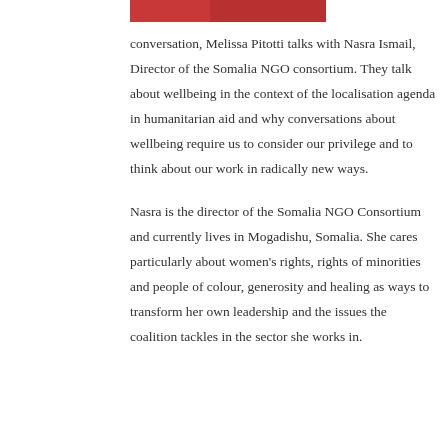[Figure (photo): Partial image at top of page showing a red/crimson colored element, likely part of a person's clothing or background.]
conversation, Melissa Pitotti talks with Nasra Ismail, Director of the Somalia NGO consortium. They talk about wellbeing in the context of the localisation agenda in humanitarian aid and why conversations about wellbeing require us to consider our privilege and to think about our work in radically new ways.
Nasra is the director of the Somalia NGO Consortium and currently lives in Mogadishu, Somalia. She cares particularly about women's rights, rights of minorities and people of colour, generosity and healing as ways to transform her own leadership and the issues the coalition tackles in the sector she works in.